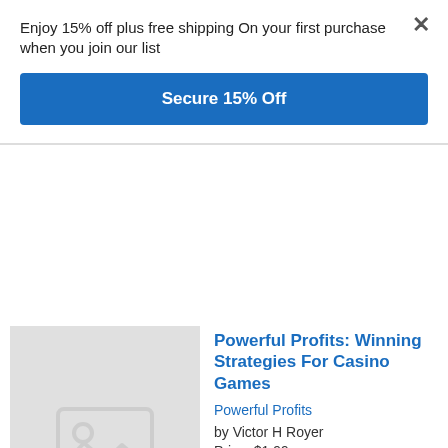Enjoy 15% off plus free shipping On your first purchase when you join our list
×
Secure 15% Off
[Figure (illustration): Gray placeholder image box with a small white image icon (mountain/landscape) in the center]
Powerful Profits: Winning Strategies For Casino Games
Powerful Profits
by Victor H Royer
Price: $1.99
You know the basics—now learn the pros' secrets!It is possible to win big at casinos. But to win consistently and walk out richer every time, you need more than luck and basic